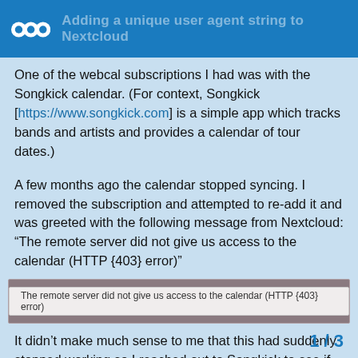Adding a unique user agent string to Nextcloud
One of the webcal subscriptions I had was with the Songkick calendar. (For context, Songkick [https://www.songkick.com] is a simple app which tracks bands and artists and provides a calendar of tour dates.)
A few months ago the calendar stopped syncing. I removed the subscription and attempted to re-add it and was greeted with the following message from Nextcloud: “The remote server did not give us access to the calendar (HTTP {403} error)”
[Figure (screenshot): Screenshot showing error message: 'The remote server did not give us access to the calendar (HTTP {403} error)']
It didn’t make much sense to me that this had suddenly stopped working so I reached out to Songkick to see if anything had changed. A few email exchanges later I received a super detailed email from Sam on their engineering team telling me that Nextcloud had been block bot protection software.
1 / 3